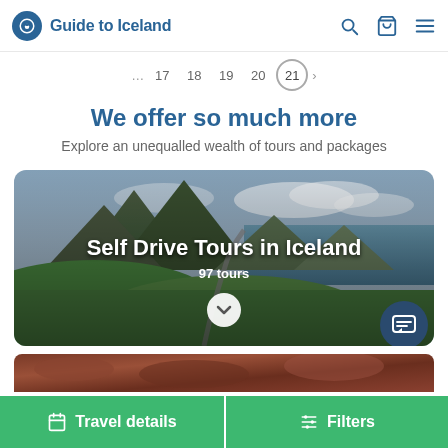Guide to Iceland
[Figure (screenshot): Pagination strip showing page numbers with page 21 circled/active]
We offer so much more
Explore an unequalled wealth of tours and packages
[Figure (photo): Aerial photo of dramatic Icelandic mountain landscape with road winding along coast. Overlaid text: 'Self Drive Tours in Iceland' and '97 tours' with a chevron down button and chat button.]
[Figure (photo): Partial photo of reddish/brown rocky terrain at bottom of page]
Travel details
Filters